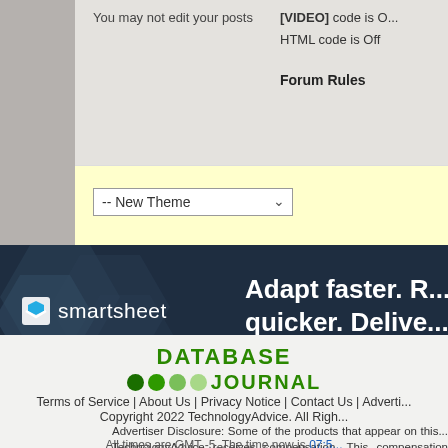You may not edit your posts
[VIDEO] code is O... HTML code is Off
Forum Rules
[Figure (screenshot): Theme selector dropdown showing '-- New Theme' on a yellow background bar]
[Figure (illustration): Smartsheet advertisement banner with dark navy background, Smartsheet logo on left, text 'Adapt faster. R... quicker. Delive...' on right]
[Figure (logo): Database Journal logo with green text and colored dots]
Terms of Service | About Us | Privacy Notice | Contact Us | Adverti...
Copyright 2022 TechnologyAdvice. All Righ...
Advertiser Disclosure: Some of the products that appear on this... TechnologyAdvice receives compensation. This compensation may in... on this site including, for example, the order in which they appear.... companies or all types of products available in the marketplace.
All times are GMT -5. The time now is 07:5...